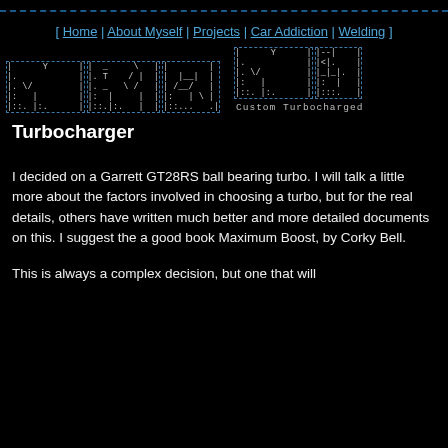[ Home | About Myself | Projects | Car Addiction | Welding ]
[Figure (other): ASCII art logo spelling out 'MR2 MK1' with dashed box borders and 'Custom Turbocharged' label]
Turbocharger
I decided on a Garrett GT28RS ball bearing turbo. I will talk a little more about the factors involved in choosing a turbo, but for the real details, others have written much better and more detailed documents on this. I suggest the a good book Maximum Boost, by Corky Bell.
This is always a complex decision, but one that will